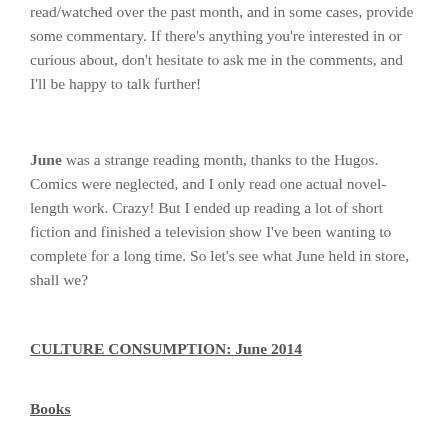read/watched over the past month, and in some cases, provide some commentary. If there's anything you're interested in or curious about, don't hesitate to ask me in the comments, and I'll be happy to talk further!
June was a strange reading month, thanks to the Hugos. Comics were neglected, and I only read one actual novel-length work. Crazy! But I ended up reading a lot of short fiction and finished a television show I've been wanting to complete for a long time. So let's see what June held in store, shall we?
CULTURE CONSUMPTION: June 2014
Books